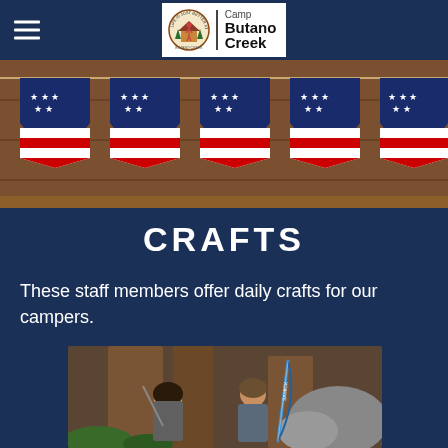Camp Butano Creek
[Figure (photo): Patriotic American flag bunting pennants draped on wooden railing at Camp Butano Creek]
CRAFTS
These staff members offer daily crafts for our campers.
[Figure (photo): Two young campers smiling and holding archery bows in front of large redwood trees]